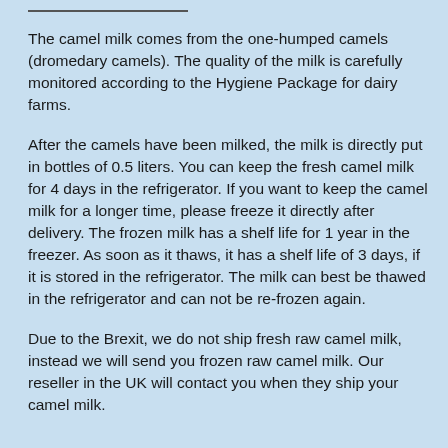The camel milk comes from the one-humped camels (dromedary camels). The quality of the milk is carefully monitored according to the Hygiene Package for dairy farms.
After the camels have been milked, the milk is directly put in bottles of 0.5 liters. You can keep the fresh camel milk for 4 days in the refrigerator. If you want to keep the camel milk for a longer time, please freeze it directly after delivery. The frozen milk has a shelf life for 1 year in the freezer. As soon as it thaws, it has a shelf life of 3 days, if it is stored in the refrigerator. The milk can best be thawed in the refrigerator and can not be re-frozen again.
Due to the Brexit, we do not ship fresh raw camel milk, instead we will send you frozen raw camel milk. Our reseller in the UK will contact you when they ship your camel milk.